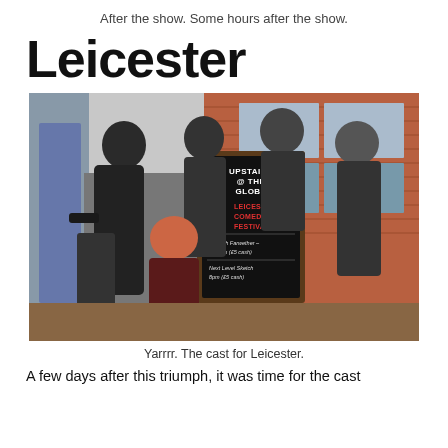After the show. Some hours after the show.
Leicester
[Figure (photo): Group photo of five people posing outside a brick building in front of a chalkboard sign reading 'Upstairs @ The Globe, Leicester Comedy Festival, Hannah Farwether 6:30pm (£5 cash), Next Level Sketch 8pm (£5 cash)']
Yarrrr. The cast for Leicester.
A few days after this triumph, it was time for the cast